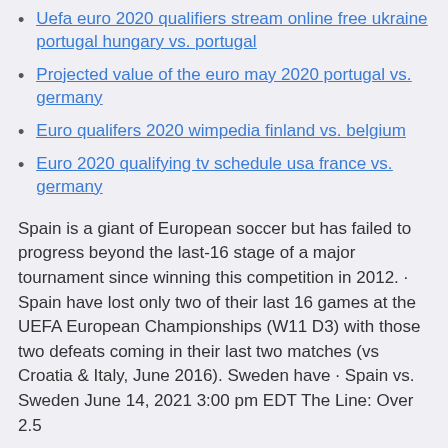Uefa euro 2020 qualifiers stream online free ukraine portugal hungary vs. portugal
Projected value of the euro may 2020 portugal vs. germany
Euro qualifers 2020 wimpedia finland vs. belgium
Euro 2020 qualifying tv schedule usa france vs. germany
Spain is a giant of European soccer but has failed to progress beyond the last-16 stage of a major tournament since winning this competition in 2012. · Spain have lost only two of their last 16 games at the UEFA European Championships (W11 D3) with those two defeats coming in their last two matches (vs Croatia & Italy, June 2016). Sweden have · Spain vs. Sweden June 14, 2021 3:00 pm EDT The Line: Over 2.5